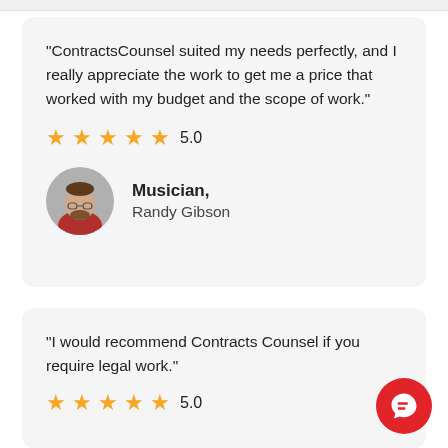"ContractsCounsel suited my needs perfectly, and I really appreciate the work to get me a price that worked with my budget and the scope of work."
[Figure (other): 5 gold stars rating with 5.0 score]
[Figure (photo): Circular avatar photo of Randy Gibson, a man with beard wearing a red shirt]
Musician, Randy Gibson
"I would recommend Contracts Counsel if you require legal work."
[Figure (other): 5 gold stars rating with 5.0 score]